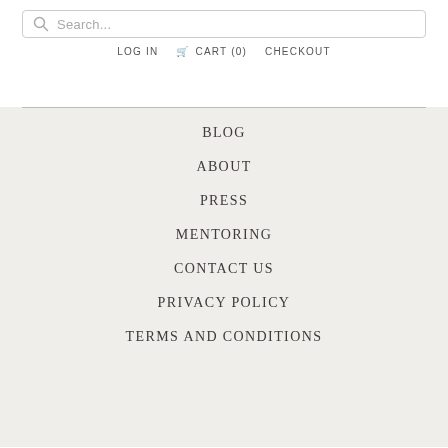Search...
LOG IN   CART (0)   CHECKOUT
BLOG
ABOUT
PRESS
MENTORING
CONTACT US
PRIVACY POLICY
TERMS AND CONDITIONS